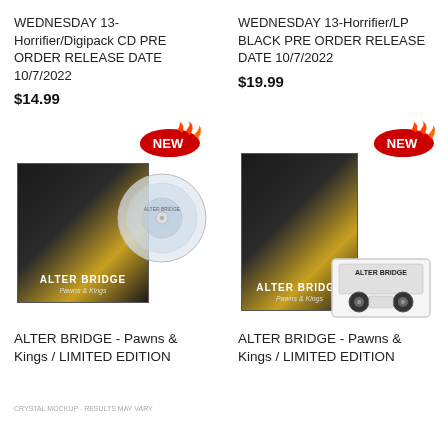WEDNESDAY 13-Horrifier/Digipack CD PRE ORDER RELEASE DATE 10/7/2022
$14.99
WEDNESDAY 13-Horrifier/LP BLACK PRE ORDER RELEASE DATE 10/7/2022
$19.99
[Figure (photo): Alter Bridge Pawns & Kings limited edition clear vinyl with album sleeve - NEW badge]
[Figure (photo): Alter Bridge Pawns & Kings limited edition cassette with album sleeve - NEW badge]
CRYSTAL MOCKUP - RESULTS MAY VARY
ALTER BRIDGE - Pawns & Kings / LIMITED EDITION
ALTER BRIDGE - Pawns & Kings / LIMITED EDITION